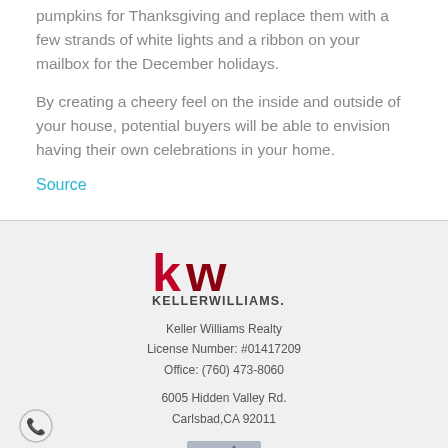pumpkins for Thanksgiving and replace them with a few strands of white lights and a ribbon on your mailbox for the December holidays.
By creating a cheery feel on the inside and outside of your house, potential buyers will be able to envision having their own celebrations in your home.
Source
[Figure (logo): Keller Williams logo with 'kw' in red and 'KELLERWILLIAMS.' in dark gray text]
Keller Williams Realty
License Number: #01417209
Office: (760) 473-8060
6005 Hidden Valley Rd.
Carlsbad,CA 92011
[Figure (logo): By Whaley & Associates logo - a stylized figure on a triangle shape]